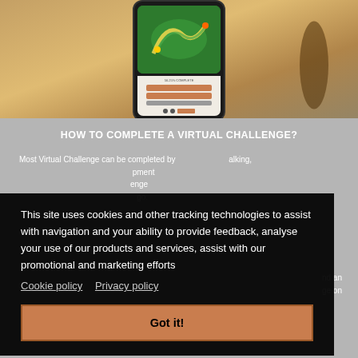[Figure (screenshot): Screenshot of a running app on a smartphone, overlaid on a background photo of a person jogging at sunset. The phone screen shows a map with a colorful route and a UI with orange progress bars.]
HOW TO COMPLETE A VIRTUAL CHALLENGE?
Most Virtual Challenge can be completed by walking, ... pment ... enge ... go.
This site uses cookies and other tracking technologies to assist with navigation and your ability to provide feedback, analyse your use of our products and services, assist with our promotional and marketing efforts
Cookie policy   Privacy policy
Got it!
... nd an ... ge on ...